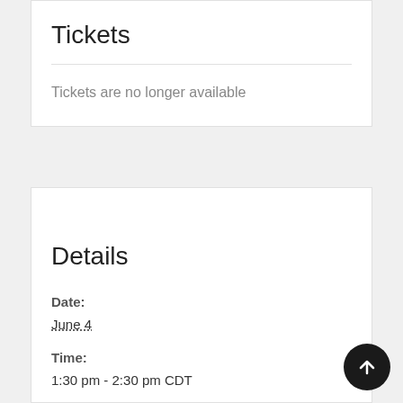Tickets
Tickets are no longer available
Details
Date:
June 4
Time:
1:30 pm - 2:30 pm CDT
Cost: